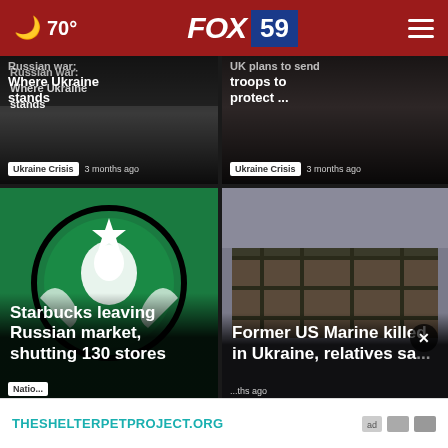🌙 70° | FOX 59
[Figure (screenshot): News card: Russian war - Where Ukraine stands, tagged Ukraine Crisis, 3 months ago]
[Figure (screenshot): News card: UK plans to send troops to protect ..., tagged Ukraine Crisis, 3 months ago]
[Figure (screenshot): Starbucks leaving Russian market, shutting 130 stores - Starbucks logo image, National, time ago]
[Figure (screenshot): Former US Marine killed in Ukraine, relatives sa... - burned building image, 3 months ago]
THESHELTERPETPROJECT.ORG
[Figure (screenshot): Bottom partial news card with image]